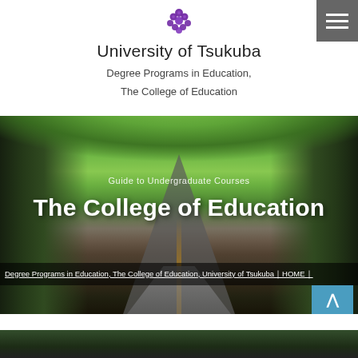[Figure (logo): University of Tsukuba purple floral/cluster logo mark]
University of Tsukuba
Degree Programs in Education,
The College of Education
[Figure (photo): Tree-lined avenue road at University of Tsukuba campus with lush green canopy]
Guide to Undergraduate Courses
The College of Education
Degree Programs in Education, The College of Education, University of Tsukuba｜HOME｜